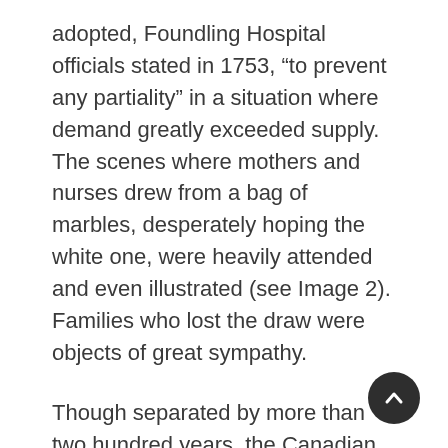adopted, Foundling Hospital officials stated in 1753, “to prevent any partiality” in a situation where demand greatly exceeded supply. The scenes where mothers and nurses drew from a bag of marbles, desperately hoping the white one, were heavily attended and even illustrated (see Image 2). Families who lost the draw were objects of great sympathy.
Though separated by more than two hundred years, the Canadian Immigration lottery program serves a similar purpose to these older British practices. Lotteries are a way for those in power to deflect responsibility from themselves for unpopular outcomes. It is particularly expedient when there are far fewer spaces than there are people wishing